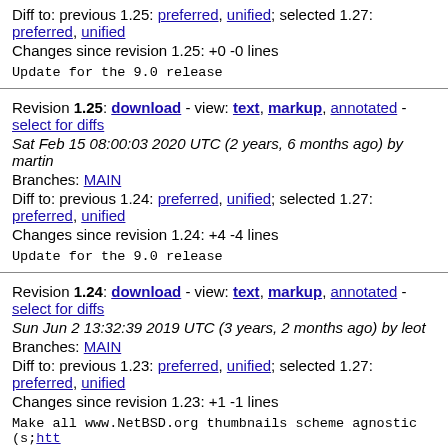Diff to: previous 1.25: preferred, unified; selected 1.27: preferred, unified
Changes since revision 1.25: +0 -0 lines

Update for the 9.0 release
Revision 1.25: download - view: text, markup, annotated - select for diffs
Sat Feb 15 08:00:03 2020 UTC (2 years, 6 months ago) by martin
Branches: MAIN
Diff to: previous 1.24: preferred, unified; selected 1.27: preferred, unified
Changes since revision 1.24: +4 -4 lines

Update for the 9.0 release
Revision 1.24: download - view: text, markup, annotated - select for diffs
Sun Jun 2 13:32:39 2019 UTC (3 years, 2 months ago) by leot
Branches: MAIN
Diff to: previous 1.23: preferred, unified; selected 1.27: preferred, unified
Changes since revision 1.23: +1 -1 lines

Make all www.NetBSD.org thumbnails scheme agnostic (s;htt...